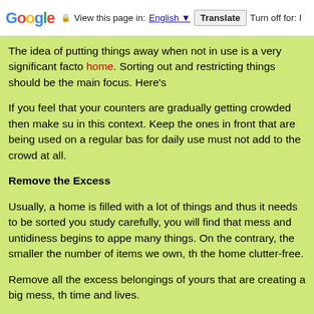Google  View this page in: English  Translate  Turn off for: I
The idea of putting things away when not in use is a very significant facto home. Sorting out and restricting things should be the main focus. Here’s
If you feel that your counters are gradually getting crowded then make su in this context. Keep the ones in front that are being used on a regular bas for daily use must not add to the crowd at all.
Remove the Excess
Usually, a home is filled with a lot of things and thus it needs to be sorted you study carefully, you will find that mess and untidiness begins to appe many things. On the contrary, the smaller the number of items we own, th the home clutter-free.
Remove all the excess belongings of yours that are creating a big mess, th time and lives.